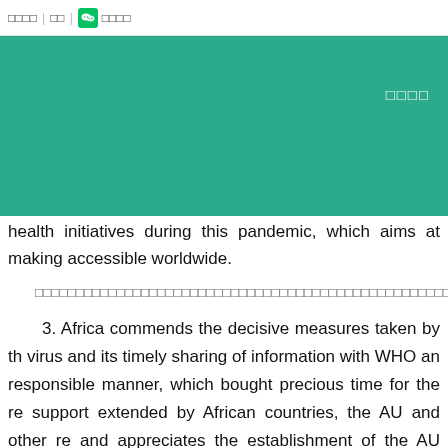□□□□ | □□ | [WeChat icon] □□□□
[Figure (other): Green teal banner with Chinese characters □□□□ in white text on the right side]
health initiatives during this pandemic, which aims at making accessible worldwide.
□□□□□□□□□□□□□□□□□□□□□□□□□□□□□□□□□□□□□□□□□□□□□□□□□□□□□□□□□□□□□□□□□□□□□□□□□□□□□□□□□□□□□□□□□□□□□□□□□□□□□□□□□□□□□□□□□□□□□□□□□□□□□□□□□□□□□□□□□
3. Africa commends the decisive measures taken by the virus and its timely sharing of information with WHO and responsible manner, which bought precious time for the rest support extended by African countries, the AU and other reg and appreciates the establishment of the AU COVID-19 S mobilize international support for Africa's efforts to address t